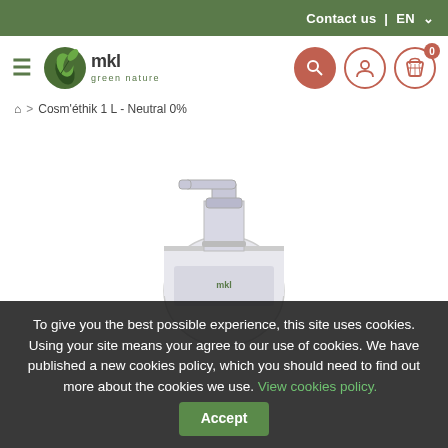Contact us | EN
[Figure (logo): MKL Green Nature logo with hamburger menu icon]
Cosm'éthik 1 L - Neutral 0%
[Figure (photo): Clear pump dispenser bottle of MKL Green Nature Cosm'éthik 1L Neutral 0% product on white background]
To give you the best possible experience, this site uses cookies. Using your site means your agree to our use of cookies. We have published a new cookies policy, which you should need to find out more about the cookies we use. View cookies policy. Accept